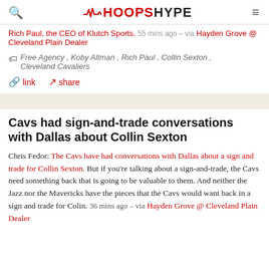HOOPSHYPE
Rich Paul, the CEO of Klutch Sports. 55 mins ago – via Hayden Grove @ Cleveland Plain Dealer
Free Agency, Koby Altman, Rich Paul, Collin Sexton, Cleveland Cavaliers
link   share
Cavs had sign-and-trade conversations with Dallas about Collin Sexton
Chris Fedor: The Cavs have had conversations with Dallas about a sign and trade for Collin Sexton. But if you're talking about a sign-and-trade, the Cavs need something back that is going to be valuable to them. And neither the Jazz nor the Mavericks have the pieces that the Cavs would want back in a sign and trade for Colin. 36 mins ago – via Hayden Grove @ Cleveland Plain Dealer